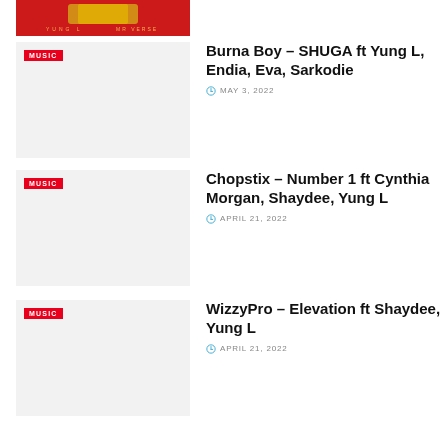[Figure (photo): Partial view of a red album/music artwork with golden text, partially cropped at top]
[Figure (photo): Light gray thumbnail placeholder with red MUSIC badge]
Burna Boy – SHUGA ft Yung L, Endia, Eva, Sarkodie
MAY 3, 2022
[Figure (photo): Light gray thumbnail placeholder with red MUSIC badge]
Chopstix – Number 1 ft Cynthia Morgan, Shaydee, Yung L
APRIL 21, 2022
[Figure (photo): Light gray thumbnail placeholder with red MUSIC badge]
WizzyPro – Elevation ft Shaydee, Yung L
APRIL 21, 2022